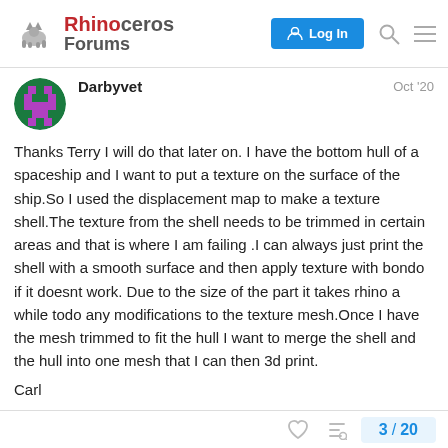Rhinoceros Forums — Log In
Darbyvet   Oct '20
Thanks Terry I will do that later on. I have the bottom hull of a spaceship and I want to put a texture on the surface of the ship.So I used the displacement map to make a texture shell.The texture from the shell needs to be trimmed in certain areas and that is where I am failing .I can always just print the shell with a smooth surface and then apply texture with bondo if it doesnt work. Due to the size of the part it takes rhino a while todo any modifications to the texture mesh.Once I have the mesh trimmed to fit the hull I want to merge the shell and the hull into one mesh that I can then 3d print.

Carl
3 / 20